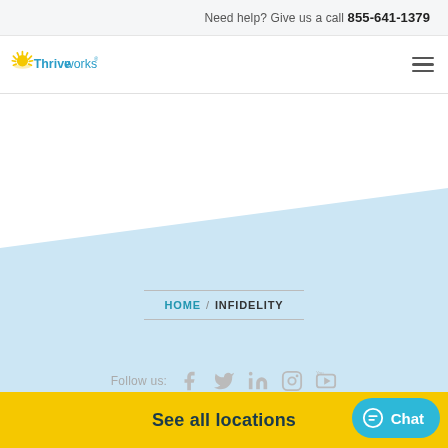Need help? Give us a call 855-641-1379
[Figure (logo): Thriveworks logo with sun rays icon and blue text]
HOME / INFIDELITY
Follow us:
See all locations
Chat